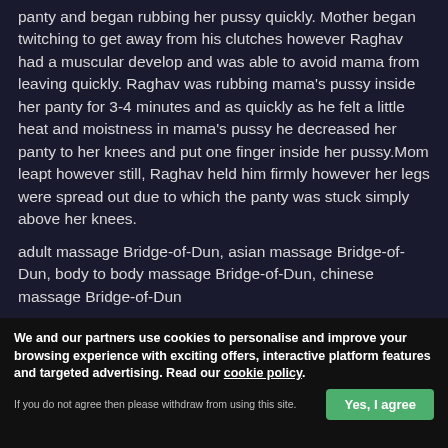panty and began rubbing her pussy quickly. Mother began twitching to get away from his clutches however Raghav had a muscular develop and was able to avoid mama from leaving quickly. Raghav was rubbing mama's pussy inside her panty for 3-4 minutes and as quickly as he felt a little heat and moistness in mama's pussy he decreased her panty to her knees and put one finger inside her pussy.Mom leapt however still, Raghav held him firmly however her legs were spread out due to which the panty was stuck simply above her knees.
adult massage Bridge-of-Dun, asian massage Bridge-of-Dun, body to body massage Bridge-of-Dun, chinese massage Bridge-of-Dun
We and our partners use cookies to personalise and improve your browsing experience with exciting offers, interactive platform features and targeted advertising. Read our cookie policy.
If you do not agree then please withdraw from using this site.